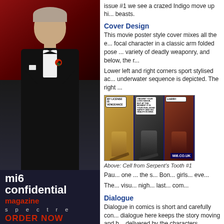[Figure (photo): Man in black tuxedo with bow tie and red poppy on red carpet background]
mi6
confidential
magazine
spectre
ORDER NOW
issue #1 we see a crazed Indigo move up hi... beasts.
Cover Design
This movie poster style cover mixes all the e... focal character in a classic arm folded pose ... variety of deadly weaponry, and below, the r...
Lower left and right corners sport stylised ac... underwater sequence is depicted. The right ...
[Figure (illustration): Comic strip panel from Serpent's Tooth #1 showing three panels with characters holding guns and speech bubbles. MI6.CO.UK watermark.]
Above: Cell from Serpent's Tooth #1
Pau... one ... the s... Bon... girls... eve...
The... visu... nigh... last... com...
Dialogue
Dialogue in comics is short and carefully con... dialogue here keeps the story moving and h... delivered by the characters.
Best Line
"Another? Don't tell me you failed to conque...